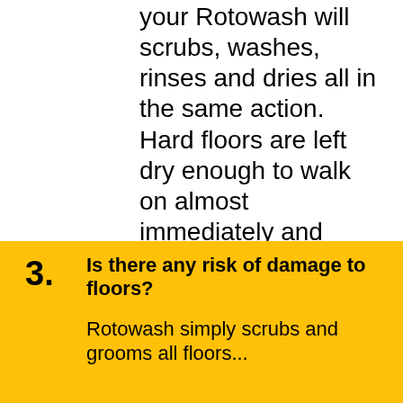your Rotowash will scrubs, washes, rinses and dries all in the same action. Hard floors are left dry enough to walk on almost immediately and carpets well within half an hour.
3. Is there any risk of damage to floors?
Rotowash simply scrubs and grooms all floors...